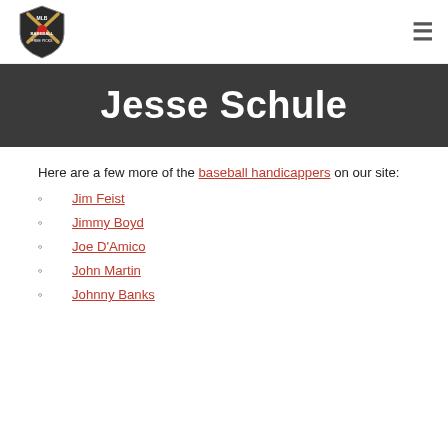[Figure (logo): MLB Baseball Free Picks logo with crossed bats and shield design]
Jesse Schule
Here are a few more of the baseball handicappers on our site:
Jim Feist
Jimmy Boyd
Joe D'Amico
John Martin
Johnny Banks